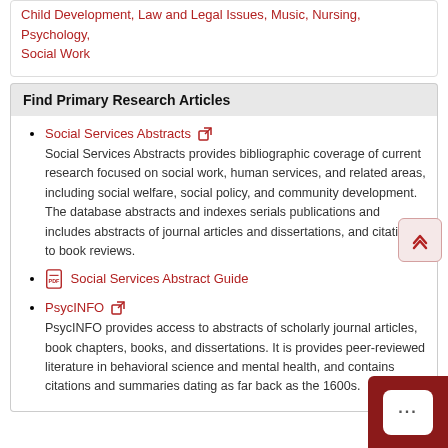Child Development, Law and Legal Issues, Music, Nursing, Psychology, Social Work
Find Primary Research Articles
Social Services Abstracts [external link] — Social Services Abstracts provides bibliographic coverage of current research focused on social work, human services, and related areas, including social welfare, social policy, and community development. The database abstracts and indexes serials publications and includes abstracts of journal articles and dissertations, and citations to book reviews.
Social Services Abstract Guide [PDF]
PsycINFO [external link] — PsycINFO provides access to abstracts of scholarly journal articles, book chapters, books, and dissertations. It is provides peer-reviewed literature in behavioral science and mental health, and contains citations and summaries dating as far back as the 1600s.